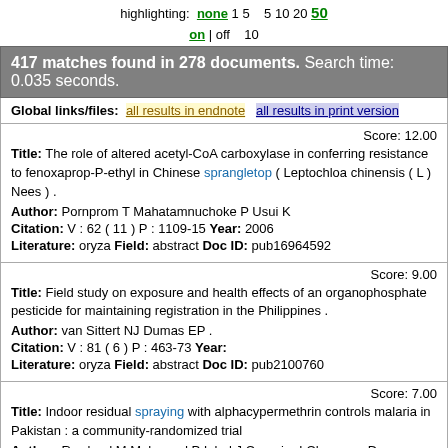highlighting: none 1 5   5 10 20 50
on | off   10
417 matches found in 278 documents. Search time: 0.035 seconds.
Global links/files:  all results in endnote  all results in print version
Score: 12.00
Title: The role of altered acetyl-CoA carboxylase in conferring resistance to fenoxaprop-P-ethyl in Chinese sprangletop ( Leptochloa chinensis ( L ) Nees ) .
Author: Pornprom T Mahatamnuchoke P Usui K
Citation: V : 62 ( 11 ) P : 1109-15 Year: 2006
Literature: oryza Field: abstract Doc ID: pub16964592
Score: 9.00
Title: Field study on exposure and health effects of an organophosphate pesticide for maintaining registration in the Philippines .
Author: van Sittert NJ Dumas EP .
Citation: V : 81 ( 6 ) P : 463-73 Year:
Literature: oryza Field: abstract Doc ID: pub2100760
Score: 7.00
Title: Indoor residual spraying with alphacypermethrin controls malaria in Pakistan : a community-randomized trial
Author: Rowland M Mahmood P Iqbal J Carneiro I Chavasse D
Citation: V : 5 ( 7 ) P : 473-81 Year: 2000